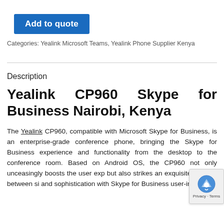Add to quote
Categories: Yealink Microsoft Teams, Yealink Phone Supplier Kenya
Description
Yealink CP960 Skype for Business Nairobi, Kenya
The Yealink CP960, compatible with Microsoft Skype for Business, is an enterprise-grade conference phone, bringing the Skype for Business experience and functionality from the desktop to the conference room. Based on Android OS, the CP960 not only unceasingly boosts the user exp... but also strikes an exquisite balance between si... and sophistication with Skype for Business user-in...